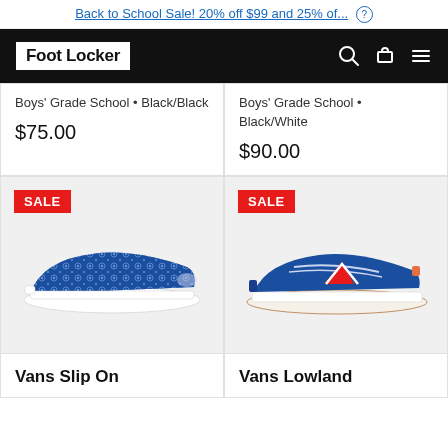Back to School Sale! 20% off $99 and 25% of...
[Figure (logo): Foot Locker logo on black navigation bar with search, cart, and menu icons]
Boys' Grade School • Black/Black
$75.00
Boys' Grade School • Black/White
$90.00
[Figure (photo): Blue bandana/skull print Vans slip-on sneaker with white sole, SALE badge]
[Figure (photo): Blue suede Vans Lowland sneaker with red/white V logo stripe, SALE badge]
Vans Slip On
Vans Lowland